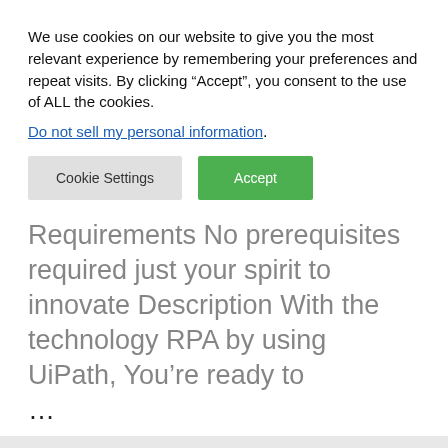We use cookies on our website to give you the most relevant experience by remembering your preferences and repeat visits. By clicking “Accept”, you consent to the use of ALL the cookies.
Do not sell my personal information.
Cookie Settings
Accept
Requirements No prerequisites required just your spirit to innovate Description With the technology RPA by using UiPath, You’re ready to …
Read more